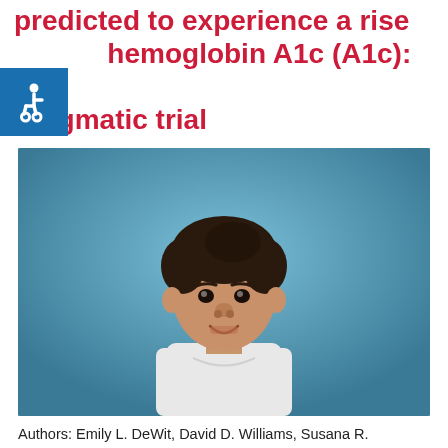predicted to experience a rise hemoglobin A1c (A1c): A pragmatic trial
[Figure (photo): A young Black boy with curly hair wearing a white long-sleeve shirt, smiling against a blue background]
Authors: Emily L. DeWit, David D. Williams, Susana R.